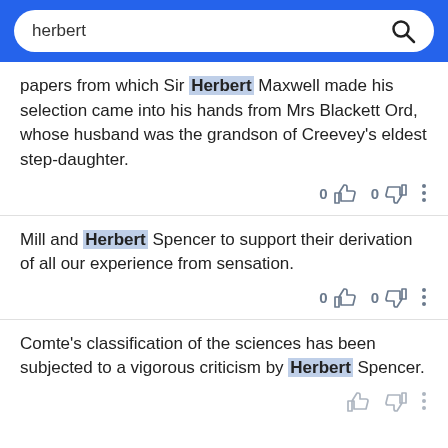herbert (search query)
papers from which Sir Herbert Maxwell made his selection came into his hands from Mrs Blackett Ord, whose husband was the grandson of Creevey's eldest step-daughter.
Mill and Herbert Spencer to support their derivation of all our experience from sensation.
Comte's classification of the sciences has been subjected to a vigorous criticism by Herbert Spencer.